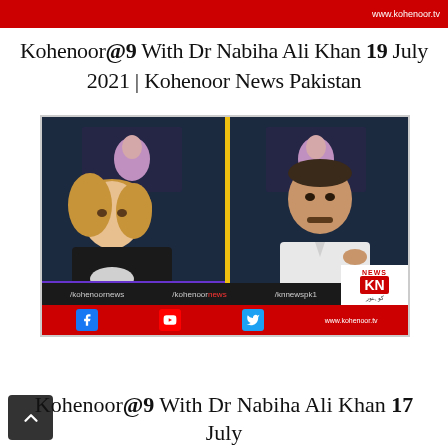[Figure (screenshot): Top red banner with www.kohenoor.tv watermark]
Kohenoor@9 With Dr Nabiha Ali Khan 19 July 2021 | Kohenoor News Pakistan
[Figure (screenshot): TV news show screenshot showing two anchors/guests in split screen: Dr Nabiha Ali Khan (left) and Dr Tariq Mian (right), with Kohenoor News branding, social media handles, and KN logo]
Kohenoor@9 With Dr Nabiha Ali Khan 17 July